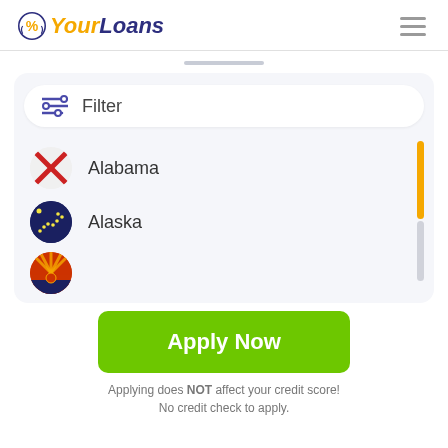[Figure (logo): YourLoans logo with percent icon and hamburger menu]
[Figure (screenshot): Filter dropdown UI with state list showing Alabama (red X flag), Alaska (dark blue star flag), and partially visible Arizona flag. Yellow scrollbar on right. Green Apply Now button at bottom.]
Applying does NOT affect your credit score!
No credit check to apply.